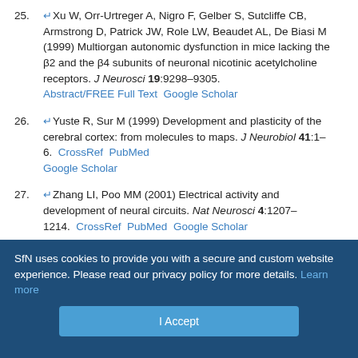25. ↵Xu W, Orr-Urtreger A, Nigro F, Gelber S, Sutcliffe CB, Armstrong D, Patrick JW, Role LW, Beaudet AL, De Biasi M (1999) Multiorgan autonomic dysfunction in mice lacking the β2 and the β4 subunits of neuronal nicotinic acetylcholine receptors. J Neurosci 19:9298–9305. Abstract/FREE Full Text  Google Scholar
26. ↵Yuste R, Sur M (1999) Development and plasticity of the cerebral cortex: from molecules to maps. J Neurobiol 41:1–6. CrossRef  PubMed  Google Scholar
27. ↵Zhang LI, Poo MM (2001) Electrical activity and development of neural circuits. Nat Neurosci 4:1207–1214. CrossRef  PubMed  Google Scholar
28. ↵Zhou ZJ (1998) Direct participation of starburst amacrine cells in spontaneous rhythmic activities in the developing mammalian retina. J Neurosci 18:4155–4165. Abstract/FREE Full Text  Google Scholar
SfN uses cookies to provide you with a secure and custom website experience. Please read our privacy policy for more details. Learn more